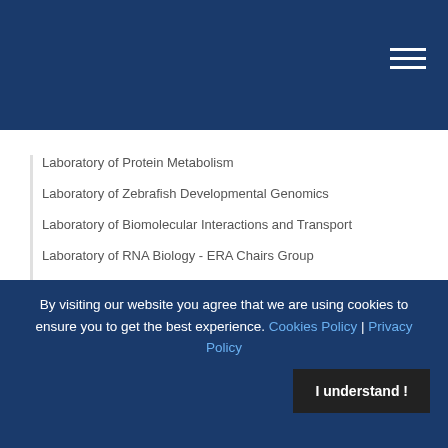Laboratory of Protein Metabolism
Laboratory of Zebrafish Developmental Genomics
Laboratory of Biomolecular Interactions and Transport
Laboratory of RNA Biology - ERA Chairs Group
Laboratory of RNA-Protein Interactions - Dioscuri Centre
Projects outside research groups
PolSenior Project
Aurezyna Project
Core Facilities
Core Facility
Zebrafish Core Facility
Former labs & projects
Laboratory of Bioinformatics
Laboratory of Cell Cortex Mechanisms
Laboratory of Mitochondrial Biogenesis
By visiting our website you agree that we are using cookies to ensure you to get the best experience. Cookies Policy | Privacy Policy